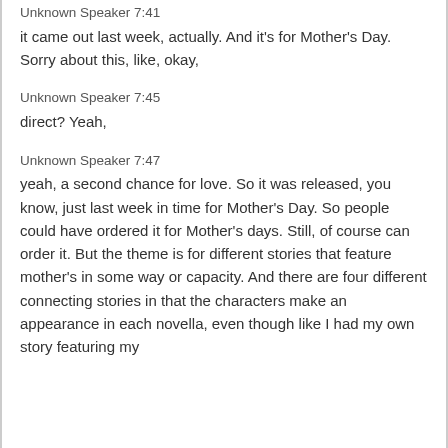Unknown Speaker 7:41
it came out last week, actually. And it's for Mother's Day. Sorry about this, like, okay,
Unknown Speaker 7:45
direct? Yeah,
Unknown Speaker 7:47
yeah, a second chance for love. So it was released, you know, just last week in time for Mother's Day. So people could have ordered it for Mother's days. Still, of course can order it. But the theme is for different stories that feature mother's in some way or capacity. And there are four different connecting stories in that the characters make an appearance in each novella, even though like I had my own story featuring my